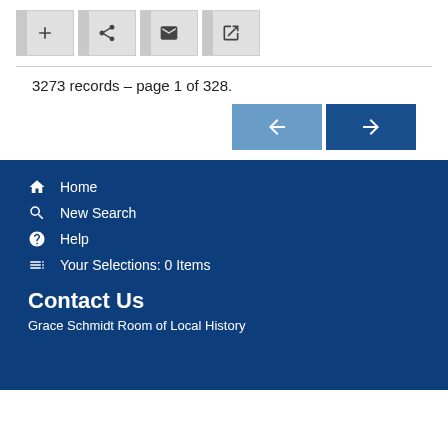[Figure (screenshot): Toolbar with four icon buttons: plus, share, envelope, and external link icons, each with a gray left sidebar strip]
3273 records – page 1 of 328.
[Figure (screenshot): Navigation buttons: a lighter blue left arrow button and a darker blue right arrow button]
Home
New Search
Help
Your Selections: 0 Items
Contact Us
Grace Schmidt Room of Local History